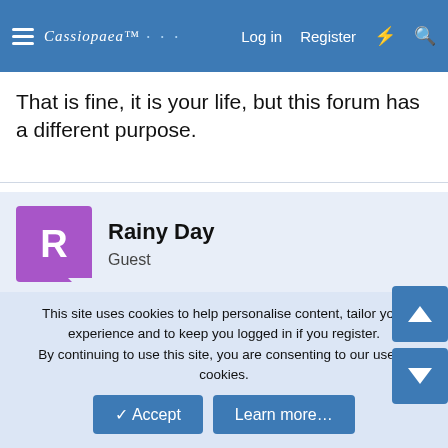Cassiopaea Log in Register
That is fine, it is your life, but this forum has a different purpose.
Rainy Day
Guest
Dec 12, 2007  #45
Then I will let this forum get on with its purpose. Data supported Freaky Visions.

Peace
This site uses cookies to help personalise content, tailor your experience and to keep you logged in if you register.
By continuing to use this site, you are consenting to our use of cookies.
✓ Accept   Learn more...